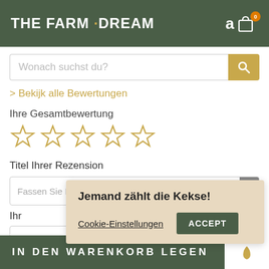THE FARM DREAM
Wonach suchst du?
> Bekijk alle Bewertungen
Ihre Gesamtbewertung
[Figure (other): Five empty star rating icons in gold outline]
Titel Ihrer Rezension
Fassen Sie Ihren Beitrag zusammen oder heben Si
Ihr
Jemand zählt die Kekse!
Cookie-Einstellungen  ACCEPT
In den Warenkorb legen